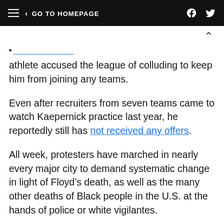GO TO HOMEPAGE
athlete accused the league of colluding to keep him from joining any teams.
Even after recruiters from seven teams came to watch Kaepernick practice last year, he reportedly still has not received any offers.
All week, protesters have marched in nearly every major city to demand systematic change in light of Floyd’s death, as well as the many other deaths of Black people in the U.S. at the hands of police or white vigilantes.